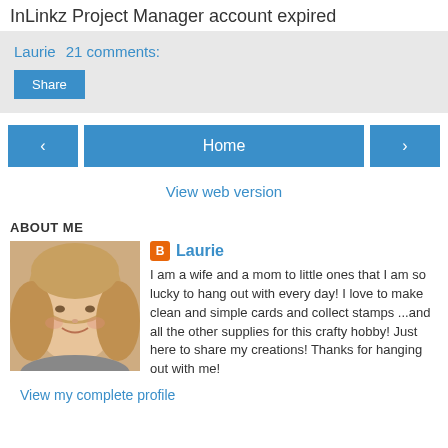InLinkz Project Manager account expired
Laurie   21 comments:
Share
‹   Home   ›
View web version
ABOUT ME
[Figure (photo): Profile photo of Laurie, a woman with blonde hair smiling]
Laurie
I am a wife and a mom to little ones that I am so lucky to hang out with every day! I love to make clean and simple cards and collect stamps ...and all the other supplies for this crafty hobby! Just here to share my creations! Thanks for hanging out with me!
View my complete profile